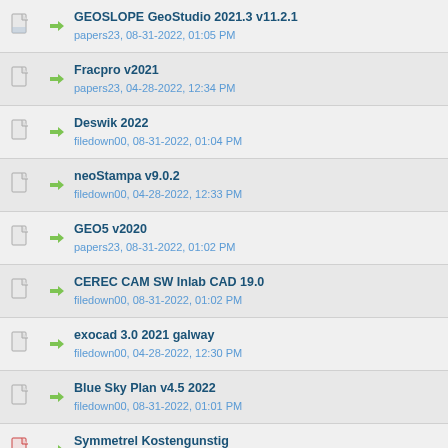GEOSLOPE GeoStudio 2021.3 v11.2.1
papers23, 08-31-2022, 01:05 PM
Fracpro v2021
papers23, 04-28-2022, 12:34 PM
Deswik 2022
filedown00, 08-31-2022, 01:04 PM
neoStampa v9.0.2
filedown00, 04-28-2022, 12:33 PM
GEO5 v2020
papers23, 08-31-2022, 01:02 PM
CEREC CAM SW Inlab CAD 19.0
filedown00, 08-31-2022, 01:02 PM
exocad 3.0 2021 galway
filedown00, 04-28-2022, 12:30 PM
Blue Sky Plan v4.5 2022
filedown00, 08-31-2022, 01:01 PM
Symmetrel Kostengunstig
Heinrich D, 01-07-2022, 06:36 PM
FracMan v7.8 Materialise.3-matic v15.0